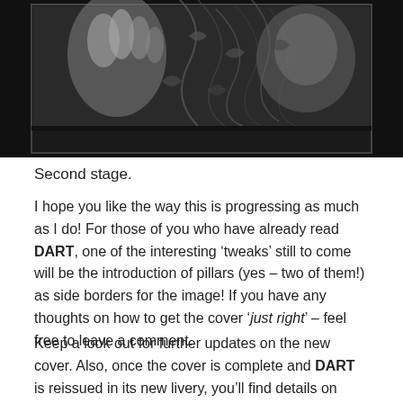[Figure (illustration): Grayscale detailed illustration showing hands and intricate vine/root patterns, displayed within a dark bordered frame against a black background. This is the second stage of a book cover design for DART.]
Second stage.
I hope you like the way this is progressing as much as I do! For those of you who have already read DART, one of the interesting ‘tweaks’ still to come will be the introduction of pillars (yes – two of them!) as side borders for the image! If you have any thoughts on how to get the cover ‘just right’ – feel free to leave a comment.
Keep a look out for further updates on the new cover. Also, once the cover is complete and DART is reissued in its new livery, you’ll find details on here of a reader